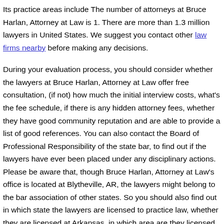Its practice areas include The number of attorneys at Bruce Harlan, Attorney at Law is 1. There are more than 1.3 million lawyers in United States. We suggest you contact other law firms nearby before making any decisions.
During your evaluation process, you should consider whether the lawyers at Bruce Harlan, Attorney at Law offer free consultation, (if not) how much the initial interview costs, what's the fee schedule, if there is any hidden attorney fees, whether they have good community reputation and are able to provide a list of good references. You can also contact the Board of Professional Responsibility of the state bar, to find out if the lawyers have ever been placed under any disciplinary actions. Please be aware that, though Bruce Harlan, Attorney at Law's office is located at Blytheville, AR, the lawyers might belong to the bar association of other states. So you should also find out in which state the lawyers are licensed to practice law, whether they are licensed at Arkansas, in which area are they licensed.
You should ask how long the lawyer has been in practice, how much